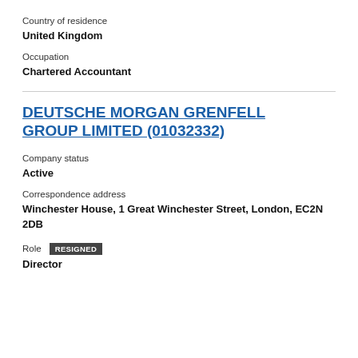Country of residence
United Kingdom
Occupation
Chartered Accountant
DEUTSCHE MORGAN GRENFELL GROUP LIMITED (01032332)
Company status
Active
Correspondence address
Winchester House, 1 Great Winchester Street, London, EC2N 2DB
Role RESIGNED
Director